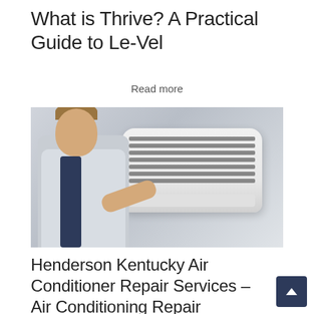What is Thrive? A Practical Guide to Le-Vel
Read more
[Figure (photo): A male technician in a gray shirt and blue overalls inspecting or repairing a wall-mounted air conditioning unit, with the cover open revealing the filter/grille.]
Henderson Kentucky Air Conditioner Repair Services – Air Conditioning Repair Henderson Guide